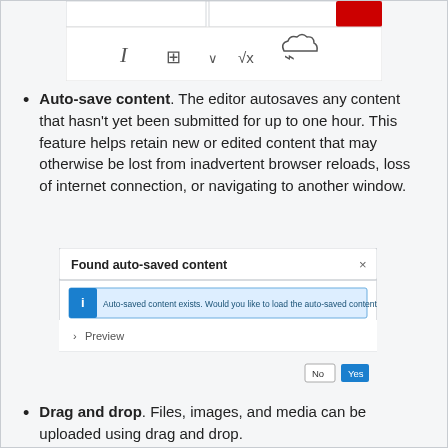[Figure (screenshot): Editor toolbar showing italic, table, dropdown, formula (sqrt x), and cloud/code icons]
Auto-save content. The editor autosaves any content that hasn't yet been submitted for up to one hour. This feature helps retain new or edited content that may otherwise be lost from inadvertent browser reloads, loss of internet connection, or navigating to another window.
[Figure (screenshot): Dialog box titled 'Found auto-saved content' with info message 'Auto-saved content exists. Would you like to load the auto-saved content instead?', a Preview section, and No/Yes buttons]
Drag and drop. Files, images, and media can be uploaded using drag and drop.